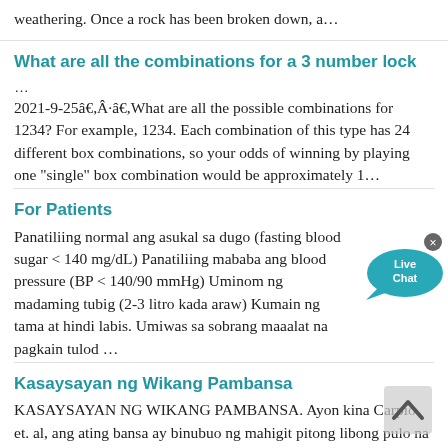weathering. Once a rock has been broken down, a…
What are all the combinations for a 3 number lock
…
2021-9-25â€,Â·â€,What are all the possible combinations for 1234? For example, 1234. Each combination of this type has 24 different box combinations, so your odds of winning by playing one "single" box combination would be approximately 1…
For Patients
Panatiliing normal ang asukal sa dugo (fasting blood sugar < 140 mg/dL) Panatiliing mababa ang blood pressure (BP < 140/90 mmHg) Uminom ng madaming tubig (2-3 litro kada araw) Kumain ng tama at hindi labis. Umiwas sa sobrang maaalat na pagkain tulod …
Kasaysayan ng Wikang Pambansa
KASAYSAYAN NG WIKANG PAMBANSA. Ayon kina Carpio et. al, ang ating bansa ay binubuo ng mahigit pitong libong pulo na siyang dahilan kung bakit tayo ay itinuturing na multilingual na bansa o maraming wikang umiiral. Dahilan ito upang magin…
Interview at Brgy. Banawang, Bato, Cantanduanes